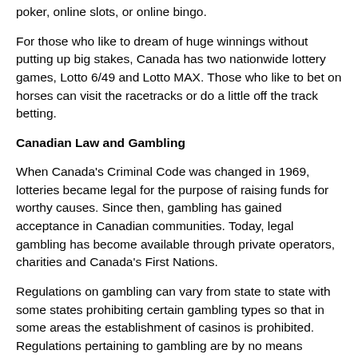poker, online slots, or online bingo.
For those who like to dream of huge winnings without putting up big stakes, Canada has two nationwide lottery games, Lotto 6/49 and Lotto MAX. Those who like to bet on horses can visit the racetracks or do a little off the track betting.
Canadian Law and Gambling
When Canada's Criminal Code was changed in 1969, lotteries became legal for the purpose of raising funds for worthy causes. Since then, gambling has gained acceptance in Canadian communities. Today, legal gambling has become available through private operators, charities and Canada's First Nations.
Regulations on gambling can vary from state to state with some states prohibiting certain gambling types so that in some areas the establishment of casinos is prohibited. Regulations pertaining to gambling are by no means uniform. While in most provinces and territories 19 is the age requirement for entry to a casino, Quebec, Alberta, and Manitoba have lowered this requirement to 18. This requirement applies not only to people who want to gamble; it is to be followed even by people who want to enter the casino to eat or shop.